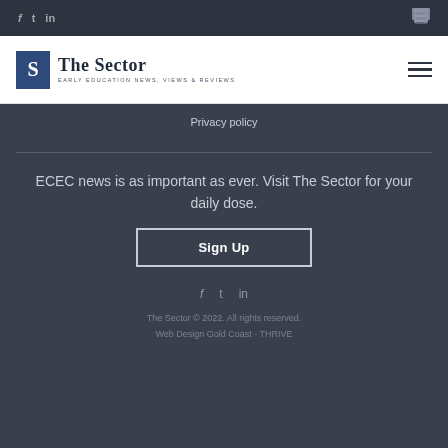f  t  in  [chat icon]
[Figure (logo): The Sector logo — dark blue square with 'S', beside text 'The Sector' and subtitle 'EARLY EDUCATION NEWS, VIEWS & REVIEWS'. Hamburger menu icon on right.]
Privacy policy
ECEC news is as important as ever. Visit The Sector for your daily dose.
Sign Up
f  t  in
The Sector © 2022. All rights reserved.
Web Design Gold Coast - THRIVE